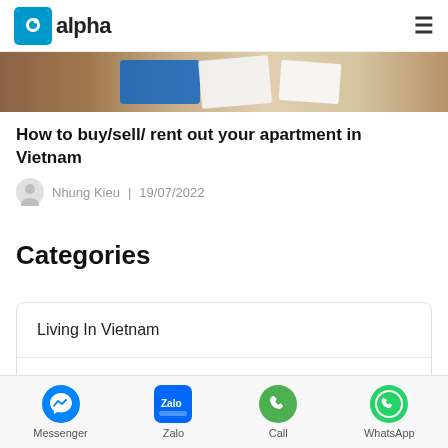alpha
[Figure (photo): Partial view of documents and a blue card on a wooden surface]
How to buy/sell/ rent out your apartment in Vietnam
Nhung Kieu | 19/07/2022
Categories
Living In Vietnam
News
Renting Guide
Messenger | Zalo | Call | WhatsApp